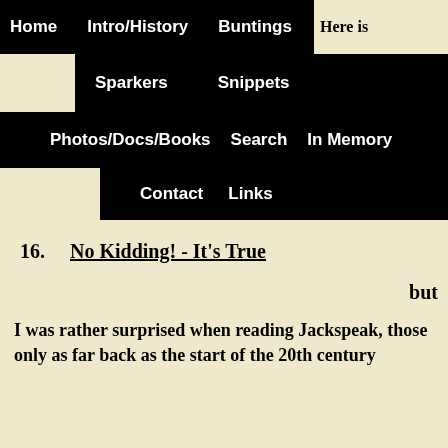Home   Intro/History   Buntings   Sparkers   Snippets   Photos/Docs/Books   Search   In Memory   Contact   Links
Here is
16.   No Kidding! - It's True
but
I was rather surprised when reading Jackspeak, those only as far back as the start of the 20th century